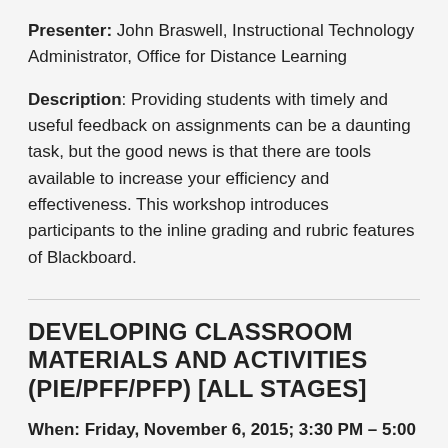Presenter: John Braswell, Instructional Technology Administrator, Office for Distance Learning
Description: Providing students with timely and useful feedback on assignments can be a daunting task, but the good news is that there are tools available to increase your efficiency and effectiveness. This workshop introduces participants to the inline grading and rubric features of Blackboard.
DEVELOPING CLASSROOM MATERIALS AND ACTIVITIES (PIE/PFF/PFP) [ALL STAGES]
When: Friday, November 6, 2015; 3:30 PM – 5:00 PM